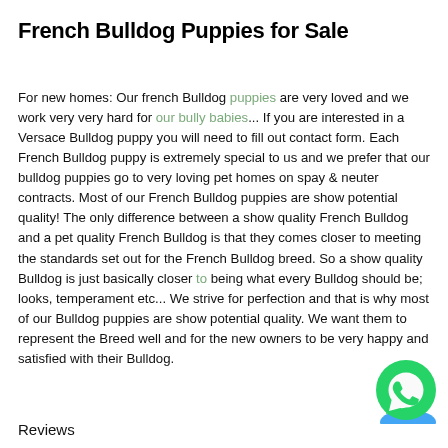French Bulldog Puppies for Sale
For new homes: Our french Bulldog puppies are very loved and we work very very hard for our bully babies... If you are interested in a Versace Bulldog puppy you will need to fill out contact form. Each French Bulldog puppy is extremely special to us and we prefer that our bulldog puppies go to very loving pet homes on spay & neuter contracts. Most of our French Bulldog puppies are show potential quality! The only difference between a show quality French Bulldog and a pet quality French Bulldog is that they comes closer to meeting the standards set out for the French Bulldog breed. So a show quality Bulldog is just basically closer to being what every Bulldog should be; looks, temperament etc... We strive for perfection and that is why most of our Bulldog puppies are show potential quality. We want them to represent the Breed well and for the new owners to be very happy and satisfied with their Bulldog.
[Figure (logo): WhatsApp button icon (green circle with phone handset)]
Reviews